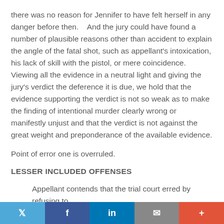there was no reason for Jennifer to have felt herself in any danger before then.    And the jury could have found a number of plausible reasons other than accident to explain the angle of the fatal shot, such as appellant's intoxication, his lack of skill with the pistol, or mere coincidence. Viewing all the evidence in a neutral light and giving the jury's verdict the deference it is due, we hold that the evidence supporting the verdict is not so weak as to make the finding of intentional murder clearly wrong or manifestly unjust and that the verdict is not against the great weight and preponderance of the available evidence.
Point of error one is overruled.
LESSER INCLUDED OFFENSES
Appellant contends that the trial court erred by refusing to